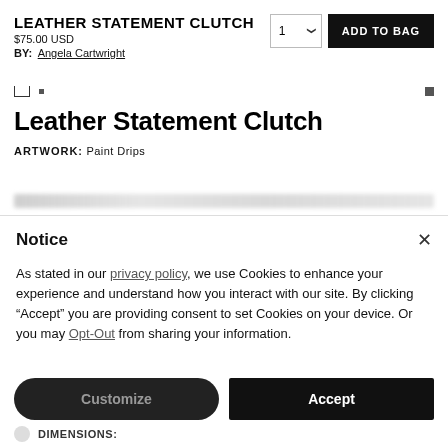LEATHER STATEMENT CLUTCH
$75.00 USD
BY: Angela Cartwright
Leather Statement Clutch
ARTWORK: Paint Drips
Notice
As stated in our privacy policy, we use Cookies to enhance your experience and understand how you interact with our site. By clicking “Accept” you are providing consent to set Cookies on your device. Or you may Opt-Out from sharing your information.
Customize
Accept